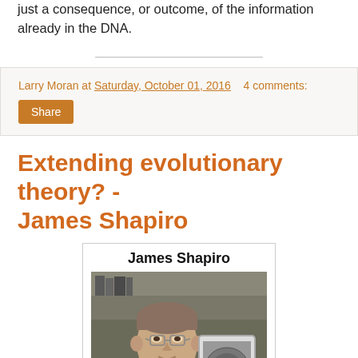just a consequence, or outcome, of the information already in the DNA.
Larry Moran at Saturday, October 01, 2016   4 comments:
Share
Extending evolutionary theory? - James Shapiro
[Figure (photo): Photo of James Shapiro, a man with glasses holding a tablet/screen, in a laboratory setting]